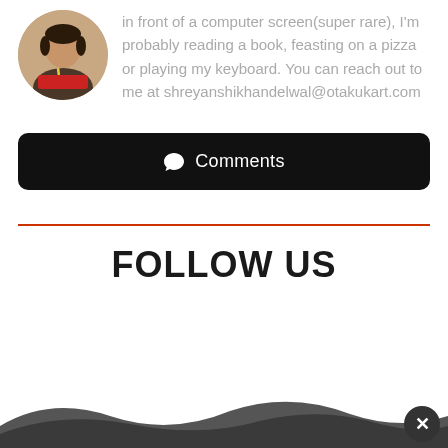[Figure (photo): Circular avatar photo of a woman sitting at a desk, wearing a yellow lanyard, in front of a presentation or computer setup.]
in front of a computer screen(super rare), I'm probably reading a book, feasting on a pizza or playing my keyboard. You can reach out to me at shreyanshikhandelwal@otakukart.com
Comments
FOLLOW US